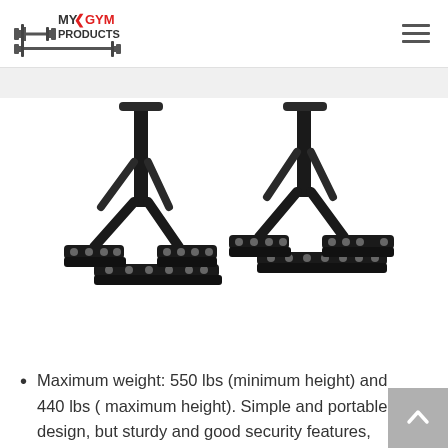MY GYM PRODUCTS
[Figure (photo): Pair of black metal parallel bar dip stands / parallettes with horizontal base feet on a white background]
Buy On Amazon
Maximum weight: 550 lbs (minimum height) and 440 lbs ( maximum height). Simple and portable design, but sturdy and good security features, suitable for